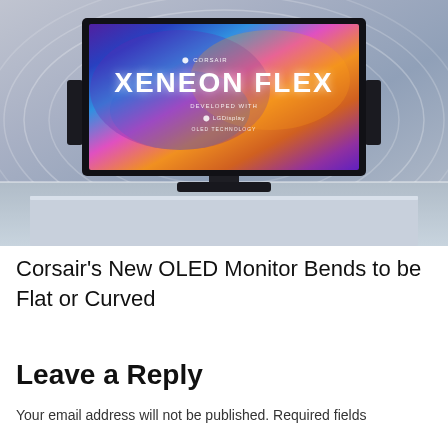[Figure (photo): Corsair Xeneon Flex OLED monitor displayed on a futuristic stage with swirling colorful abstract background. The monitor screen shows 'XENEON FLEX' text with colorful swirling graphics. CORSAIR logo visible, text reads 'DEVELOPED WITH LG Display OLED TECHNOLOGY'.]
Corsair's New OLED Monitor Bends to be Flat or Curved
Leave a Reply
Your email address will not be published. Required fields